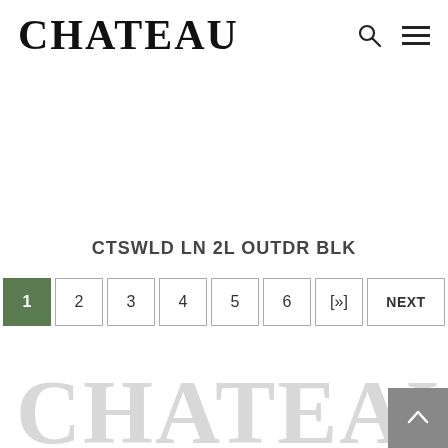CHATEAU
CTSWLD LN 2L OUTDR BLK
1 2 3 4 5 6 [»] NEXT
CHATEAU